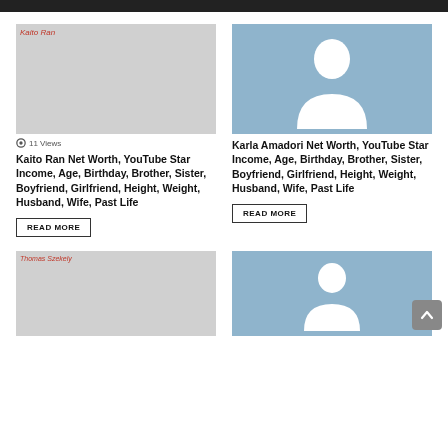[Figure (screenshot): Dark top bar image strip]
[Figure (photo): Kaito Ran thumbnail image placeholder, grey background, 11 Views label]
11 Views
Kaito Ran Net Worth, YouTube Star Income, Age, Birthday, Brother, Sister, Boyfriend, Girlfriend, Height, Weight, Husband, Wife, Past Life
READ MORE
[Figure (illustration): Blue placeholder avatar silhouette for Karla Amadori]
Karla Amadori Net Worth, YouTube Star Income, Age, Birthday, Brother, Sister, Boyfriend, Girlfriend, Height, Weight, Husband, Wife, Past Life
READ MORE
[Figure (photo): Thomas Szekely thumbnail image placeholder, grey background]
[Figure (illustration): Blue placeholder avatar silhouette, second row right]